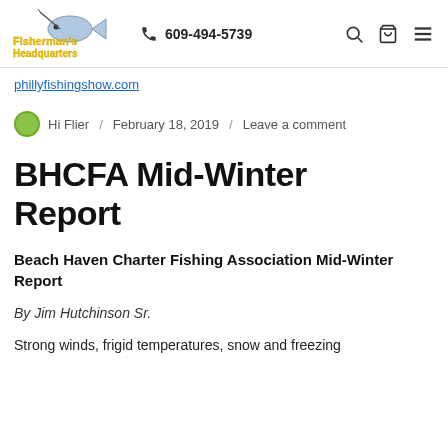Fisherman's Headquarters | 609-494-5739
phillyfishingshow.com
Hi Flier / February 18, 2019 / Leave a comment
BHCFA Mid-Winter Report
Beach Haven Charter Fishing Association Mid-Winter Report
By Jim Hutchinson Sr.
Strong winds, frigid temperatures, snow and freezing